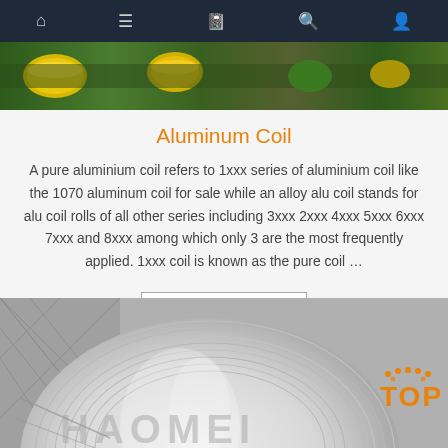Navigation bar with home, menu, book, search, user icons
[Figure (photo): Top banner image showing industrial rollers/coils in green and yellow colors]
Aluminum Coil
A pure aluminium coil refers to 1xxx series of aluminium coil like the 1070 aluminum coil for sale while an alloy alu coil stands for alu coil rolls of all other series including 3xxx 2xxx 4xxx 5xxx 6xxx 7xxx and 8xxx among which only 3 are the most frequently applied. 1xxx coil is known as the pure coil …
Get Price
[Figure (photo): Bottom image of a large aluminum coil wrapped in plastic/protective film with HAOMEI branding and TOP badge logo in orange]